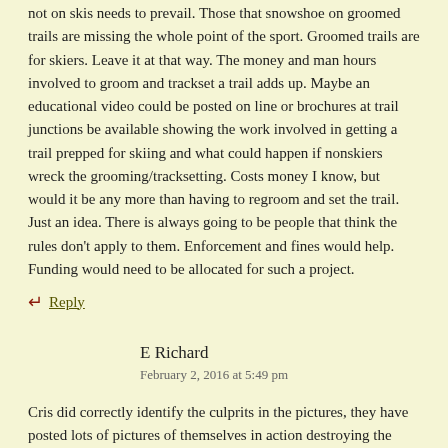not on skis needs to prevail. Those that snowshoe on groomed trails are missing the whole point of the sport. Groomed trails are for skiers. Leave it at that way. The money and man hours involved to groom and trackset a trail adds up. Maybe an educational video could be posted on line or brochures at trail junctions be available showing the work involved in getting a trail prepped for skiing and what could happen if nonskiers wreck the grooming/tracksetting. Costs money I know, but would it be any more than having to regroom and set the trail. Just an idea. There is always going to be people that think the rules don't apply to them. Enforcement and fines would help. Funding would need to be allocated for such a project.
↵ Reply
E Richard
February 2, 2016 at 5:49 pm
Cris did correctly identify the culprits in the pictures, they have posted lots of pictures of themselves in action destroying the groomed ski trails, no club member has posted that their pictures being on skierbob.ca in the event comments for some reason. As someone whom enjoys both I have consideration for both activities. Have spent the past two winters in Nova Scotia, same mentality here, am in a ski club and the club grooms trails in a provincial park which attracts people whom decide to snowshoe and walk on the groomed trails.